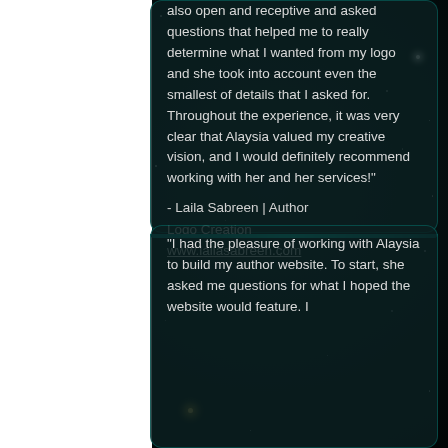also open and receptive and asked questions that helped me to really determine what I wanted from my logo and she took into account even the smallest of details that I asked for. Throughout the experience, it was very clear that Alaysia valued my creative vision, and I would definitely recommend working with her and her services!"
- Laila Sabreen | Author
Logo Creation
www.lailasabreen.com
"I had the pleasure of working with Alaysia to build my author website. To start, she asked me questions for what I hoped the website would feature. I